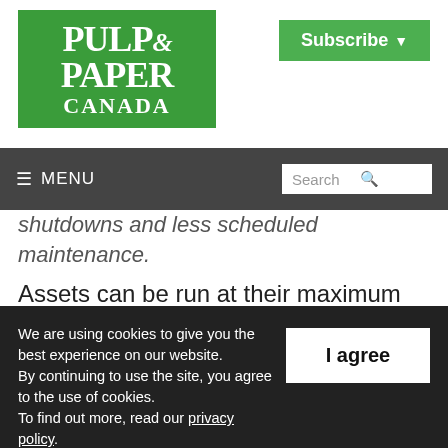[Figure (logo): Pulp & Paper Canada logo — green rectangle with white serif text reading PULP & PAPER CANADA]
[Figure (other): Subscribe button — green rectangle with white bold text 'Subscribe' and dropdown arrow]
≡ MENU    Search 🔍
shutdowns and less scheduled maintenance. Assets can be run at their maximum performance, while optimization efforts can be co-ordinated, and both materials and human resources can be used more effectively
We are using cookies to give you the best experience on our website. By continuing to use the site, you agree to the use of cookies. To find out more, read our privacy policy.